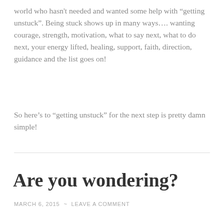world who hasn't needed and wanted some help with “getting unstuck”. Being stuck shows up in many ways…. wanting courage, strength, motivation, what to say next, what to do next, your energy lifted, healing, support, faith, direction, guidance and the list goes on!
So here’s to “getting unstuck” for the next step is pretty damn simple!
Are you wondering?
MARCH 6, 2015  ~  LEAVE A COMMENT